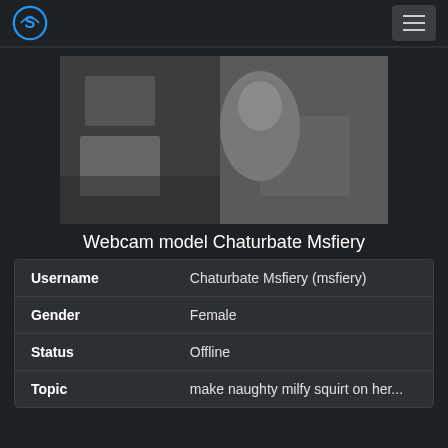Navigation bar with logo and menu button
[Figure (photo): Grayscale webcam screenshot of a woman in a bedroom setting]
Webcam model Chaturbate Msfiery
|  |  |
| --- | --- |
| Username | Chaturbate Msfiery (msfiery) |
| Gender | Female |
| Status | Offline |
| Topic | make naughty milfy squirt on her... |